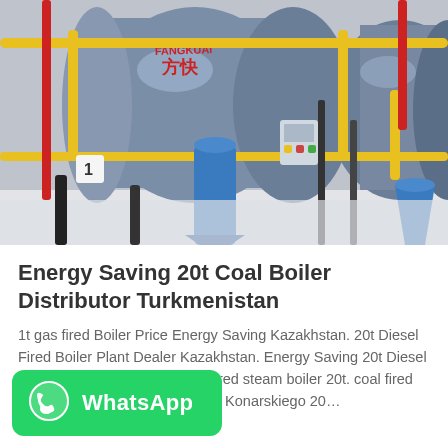[Figure (photo): Industrial boiler room showing large cylindrical blue-gray gas boilers (branded Fangkuai / 方快) with yellow and red piping, numbered '1', in a clean white facility.]
Energy Saving 20t Coal Boiler Distributor Turkmenistan
1t gas fired Boiler Price Energy Saving Kazakhstan. 20t Diesel Fired Boiler Plant Dealer Kazakhstan. Energy Saving 20t Diesel Boiler Plant Kazakhstan. coal fired steam boiler 20t. coal fired al fired heat increase Konarskiego 20...